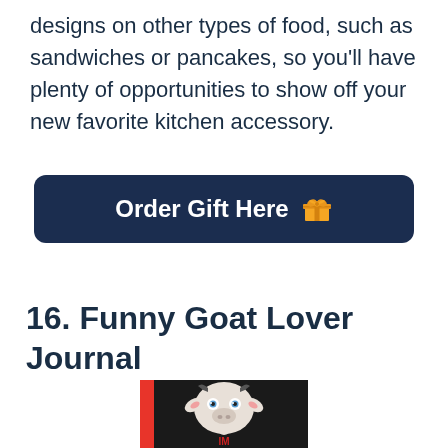designs on other types of food, such as sandwiches or pancakes, so you'll have plenty of opportunities to show off your new favorite kitchen accessory.
[Figure (infographic): Dark navy rounded rectangle button with white bold text 'Order Gift Here' and a gold/yellow gift box emoji icon on the right.]
16. Funny Goat Lover Journal
[Figure (photo): Partial view of a book cover with dark/black background featuring a cartoon goat face illustration and partial red spine. The letters 'IM' are visible at the bottom.]